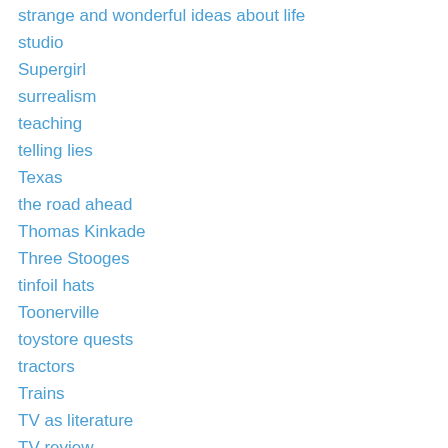strange and wonderful ideas about life
studio
Supergirl
surrealism
teaching
telling lies
Texas
the road ahead
Thomas Kinkade
Three Stooges
tinfoil hats
Toonerville
toystore quests
tractors
Trains
TV as literature
TV review
Uncategorized
vacations
villains